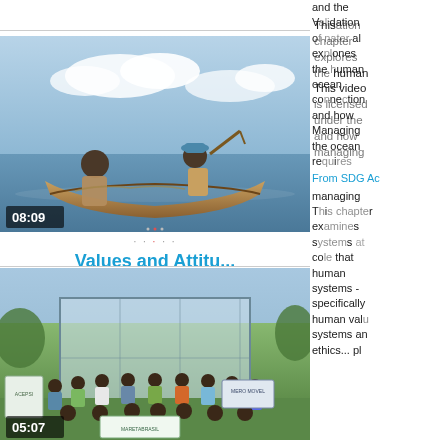[Figure (photo): Video thumbnail showing two men in a wooden boat on the water, with timestamp 08:09 in the lower left corner]
Values and Attitu...
[Figure (photo): Video thumbnail showing a large group of people posing outdoors in front of a building, holding banners/flags including ACEPSI and MARETABRASIL logos, with timestamp 05:07]
and the validation of nater al explores the human ocean connection and how managing the ocean requires managing human systems as well that human systems - specifically human values systems and ethics... pl
This chapter explores the human ocean connection and how managing the ocean requires managing human systems as well. This chapter examines at role. that human systems - specifically human values systems and ethics... pl
This video is licensed under the From SDG Ac